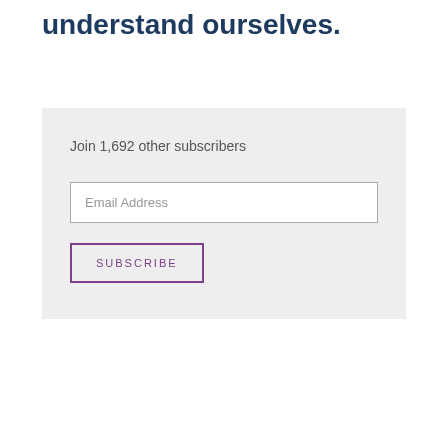understand ourselves.
Join 1,692 other subscribers
Email Address
SUBSCRIBE